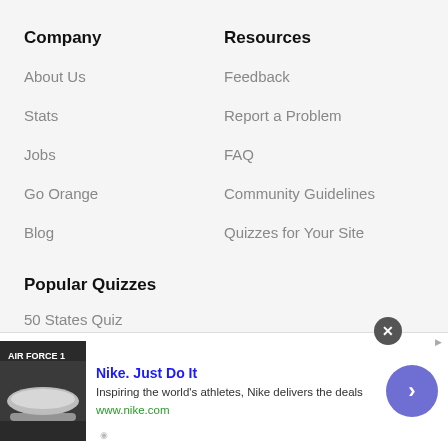Company
Resources
About Us
Feedback
Stats
Report a Problem
Jobs
FAQ
Go Orange
Community Guidelines
Blog
Quizzes for Your Site
Popular Quizzes
50 States Quiz
[Figure (screenshot): Advertisement banner for Nike. Just Do It — showing Nike Air Force 1 shoe image, text 'Inspiring the world's athletes, Nike delivers the deals', URL www.nike.com, with a blue circular arrow button and close button.]